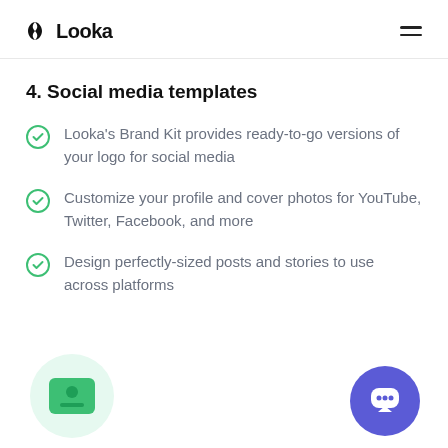Looka
4. Social media templates
Looka's Brand Kit provides ready-to-go versions of your logo for social media
Customize your profile and cover photos for YouTube, Twitter, Facebook, and more
Design perfectly-sized posts and stories to use across platforms
[Figure (illustration): Green circle background with a green card/ID icon in the center, representing social media profile image tool]
[Figure (illustration): Purple circular chat/support button in the bottom right corner]